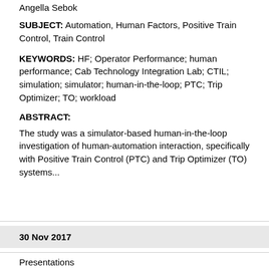Angella Sebok
SUBJECT: Automation, Human Factors, Positive Train Control, Train Control
KEYWORDS: HF; Operator Performance; human performance; Cab Technology Integration Lab; CTIL; simulation; simulator; human-in-the-loop; PTC; Trip Optimizer; TO; workload
ABSTRACT:
The study was a simulator-based human-in-the-loop investigation of human-automation interaction, specifically with Positive Train Control (PTC) and Trip Optimizer (TO) systems...
30 Nov 2017
Presentations